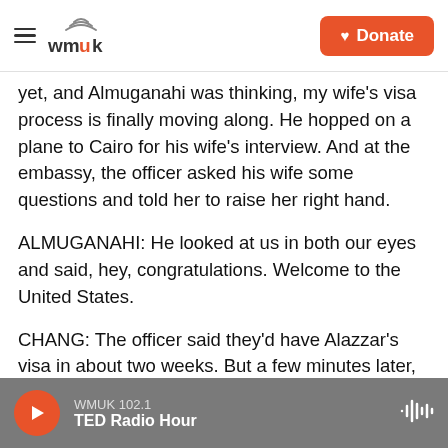WMUK | Donate
yet, and Almuganahi was thinking, my wife's visa process is finally moving along. He hopped on a plane to Cairo for his wife's interview. And at the embassy, the officer asked his wife some questions and told her to raise her right hand.
ALMUGANAHI: He looked at us in both our eyes and said, hey, congratulations. Welcome to the United States.
CHANG: The officer said they'd have Alazzar's visa in about two weeks. But a few minutes later, he called them back to the window and said he was sorry, but there had been an administrative delay
WMUK 102.1 | TED Radio Hour